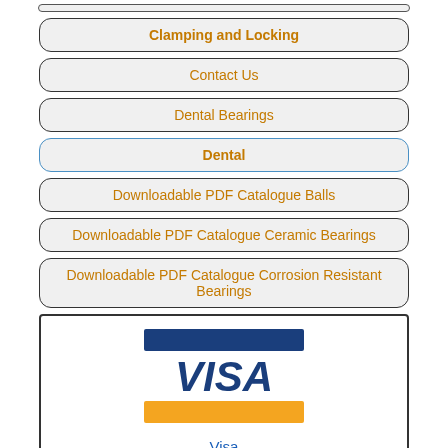Clamping and Locking
Contact Us
Dental Bearings
Dental
Downloadable PDF Catalogue Balls
Downloadable PDF Catalogue Ceramic Bearings
Downloadable PDF Catalogue Corrosion Resistant Bearings
[Figure (logo): VISA logo with blue and gold stripes]
Visa Secure Checkout